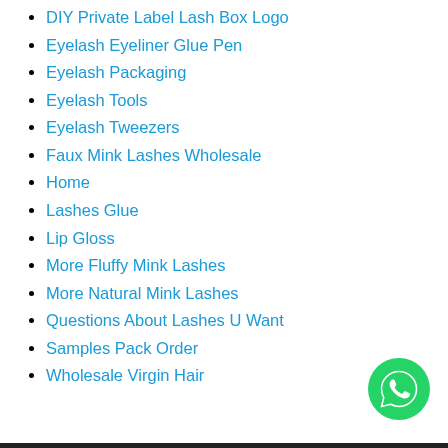DIY Private Label Lash Box Logo
Eyelash Eyeliner Glue Pen
Eyelash Packaging
Eyelash Tools
Eyelash Tweezers
Faux Mink Lashes Wholesale
Home
Lashes Glue
Lip Gloss
More Fluffy Mink Lashes
More Natural Mink Lashes
Questions About Lashes U Want
Samples Pack Order
Wholesale Virgin Hair
[Figure (logo): WhatsApp green circular chat button icon in bottom right corner]